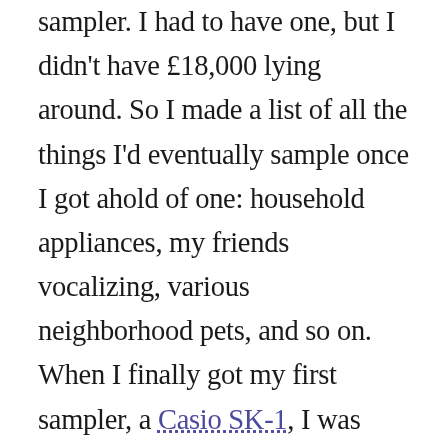sampler. I had to have one, but I didn't have £18,000 lying around. So I made a list of all the things I'd eventually sample once I got ahold of one: household appliances, my friends vocalizing, various neighborhood pets, and so on. When I finally got my first sampler, a Casio SK-1, I was frustrated by its limitations and couldn't act on over 90% of my list. But it was still a formative blast. That weird little keyboard and a few tunes sampling the drummer Alan White were responsible for pushing me down the